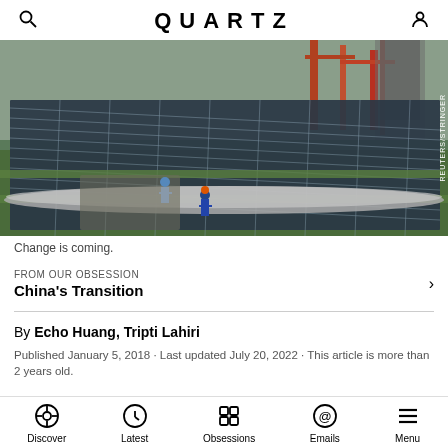QUARTZ
[Figure (photo): Solar panels in rows at an industrial facility with workers in hard hats and cranes in the background. Two workers walk along a path between the solar panels.]
Change is coming.
FROM OUR OBSESSION
China's Transition
By Echo Huang, Tripti Lahiri
Published January 5, 2018 · Last updated July 20, 2022 · This article is more than 2 years old.
Discover  Latest  Obsessions  Emails  Menu